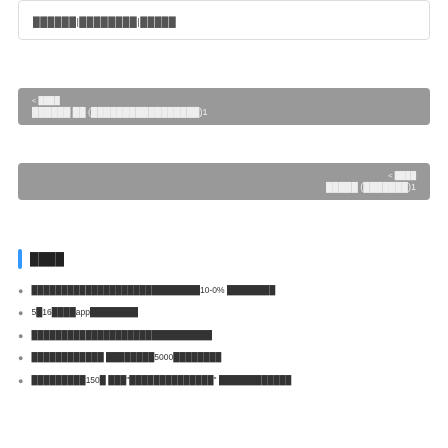██████|████████|█████
< ████
██████ ██ (█████████████████)1
< ████
█████ (███████)1
████
████████████████████████████10-0% ████████
5█16████app████████
██████████████████████████████
████████████ ████████5000████████
█████████150█ ███"██████████████" ████████████